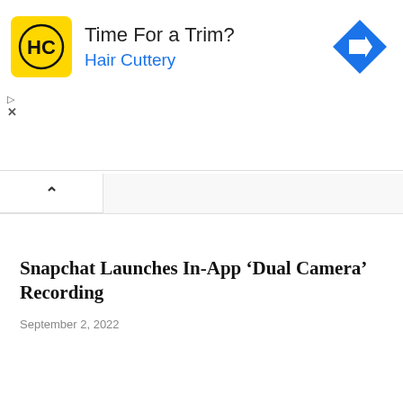[Figure (advertisement): Hair Cuttery ad banner with yellow HC logo, headline 'Time For a Trim?', brand name 'Hair Cuttery' in blue, and a blue diamond direction arrow icon on the right]
Snapchat Launches In-App ‘Dual Camera’ Recording
September 2, 2022